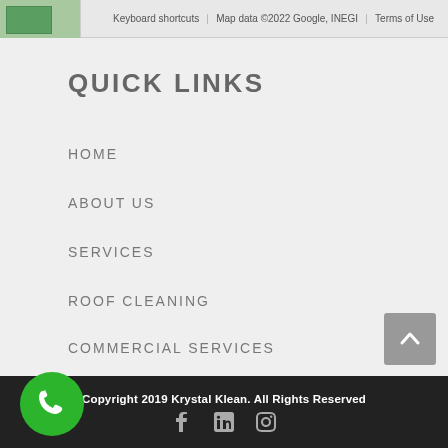[Figure (screenshot): Google Maps screenshot toolbar showing keyboard shortcuts, map data attribution, and terms of use]
QUICK LINKS
HOME
ABOUT US
SERVICES
ROOF CLEANING
COMMERCIAL SERVICES
Copyright 2019 Krystal Klean. All Rights Reserved